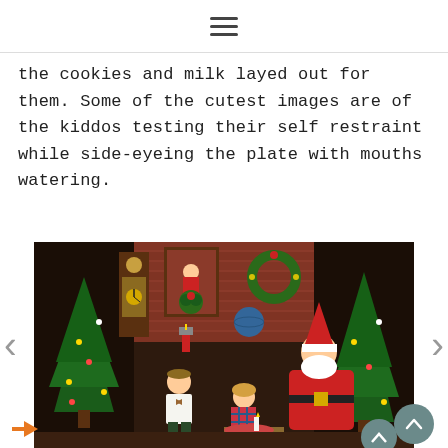≡ (hamburger menu icon)
the cookies and milk layed out for them. Some of the cutest images are of the kiddos testing their self restraint while side-eyeing the plate with mouths watering.
[Figure (photo): Christmas photo session showing two children and Santa Claus in a festive studio setting with Christmas trees, fireplace with brick surround, grandfather clock, framed artwork, and holiday decorations. A boy in a white sweater and flat cap stands on the left, a girl in plaid leans over a table in the middle, and Santa sits on the right reviewing a list. Navigation arrows on sides.]